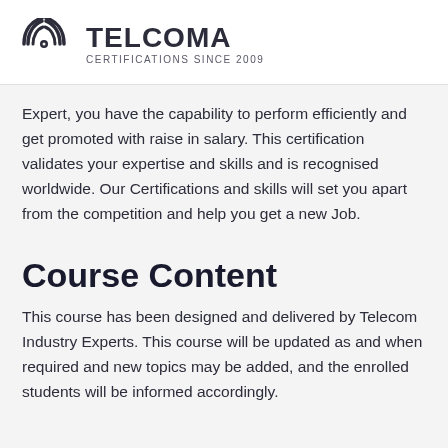TELCOMA CERTIFICATIONS SINCE 2009
Expert, you have the capability to perform efficiently and get promoted with raise in salary. This certification validates your expertise and skills and is recognised worldwide. Our Certifications and skills will set you apart from the competition and help you get a new Job.
Course Content
This course has been designed and delivered by Telecom Industry Experts. This course will be updated as and when required and new topics may be added, and the enrolled students will be informed accordingly.